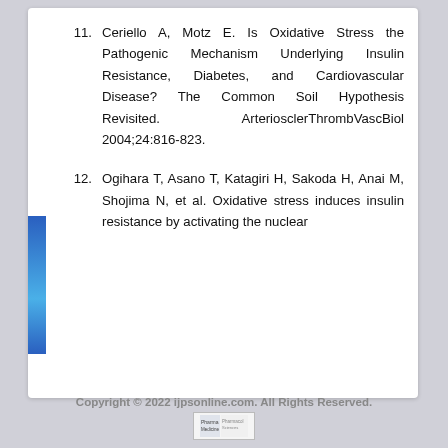11. Ceriello A, Motz E. Is Oxidative Stress the Pathogenic Mechanism Underlying Insulin Resistance, Diabetes, and Cardiovascular Disease? The Common Soil Hypothesis Revisited. ArteriosclerThrombVascBiol 2004;24:816-823.
12. Ogihara T, Asano T, Katagiri H, Sakoda H, Anai M, Shojima N, et al. Oxidative stress induces insulin resistance by activating the nuclear
Copyright © 2022 ijpsonline.com. All Rights Reserved.